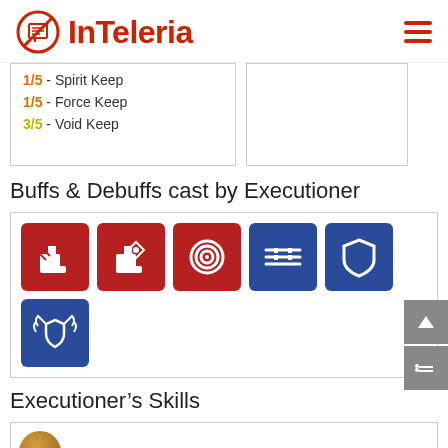InTeleria
1/5 - Spirit Keep
1/5 - Force Keep
3/5 - Void Keep
Buffs & Debuffs cast by Executioner
[Figure (infographic): Six buff/debuff icons: five in first row (two red boot/leg icons, one red spiral icon, one blue crossed-swords icon, one blue shield icon), and one blue shield-wings icon in second row.]
Executioner's Skills
[Figure (illustration): Partial view of a circular character avatar at bottom of page.]